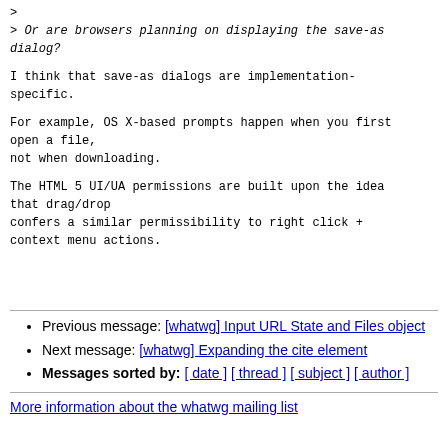> Or are browsers planning on displaying the save-as dialog?
I think that save-as dialogs are implementation-specific.
For example, OS X-based prompts happen when you first open a file, not when downloading.
The HTML 5 UI/UA permissions are built upon the idea that drag/drop confers a similar permissibility to right click + context menu actions.
Previous message: [whatwg] Input URL State and Files object
Next message: [whatwg] Expanding the cite element
Messages sorted by: [ date ] [ thread ] [ subject ] [ author ]
More information about the whatwg mailing list